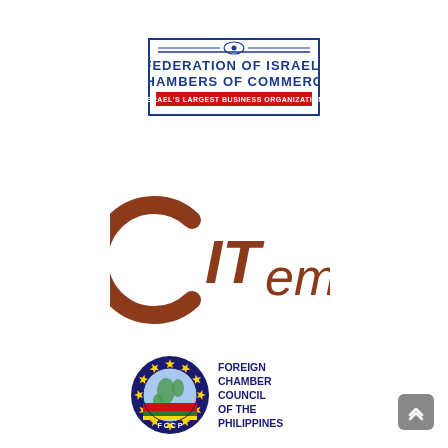[Figure (logo): Federation of Israeli Chambers of Commerce logo with blue border, blue bold text 'FEDERATION OF ISRAELI CHAMBERS OF COMMERCE', red banner 'ISRAEL'S LARGEST BUSINESS ORGANIZATION', and a blue eye symbol at top center]
[Figure (logo): CITEM logo in brown/rust color — stylized circular 'C' integrated with italic text 'ITem']
[Figure (logo): Foreign Chamber Council of the Philippines (FCCP) circular badge logo with stars, globe, colored stripes, and text FCCP, alongside text 'FOREIGN CHAMBER COUNCIL OF THE PHILIPPINES']